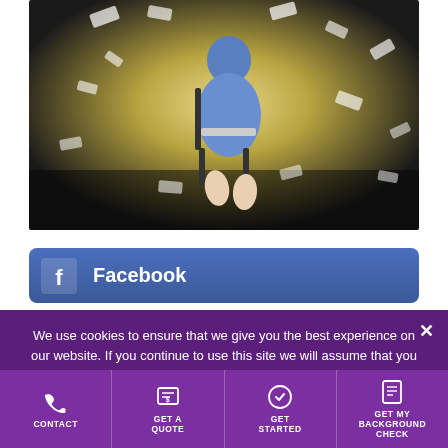[Figure (photo): Person sitting on a chair using a laptop with money/dollar bills flying around in a dark room with glowing light]
Facebook
We use cookies to ensure that we give you the best experience on our website. If you continue to use this site we will assume that you are happy with it.
OK
COOKIE POLICY
LinkedIn
CONTACT | GET A QUOTE | GET STARTED | GET MY BACKGROUND CHECK